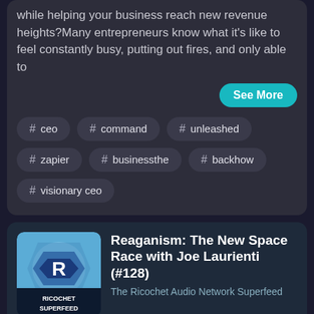while helping your business reach new revenue heights?Many entrepreneurs know what it's like to feel constantly busy, putting out fires, and only able to
See More
# ceo
# command
# unleashed
# zapier
# businessthe
# backhow
# visionary ceo
Reaganism: The New Space Race with Joe Laurienti (#128)
The Ricochet Audio Network Superfeed
Play Episode